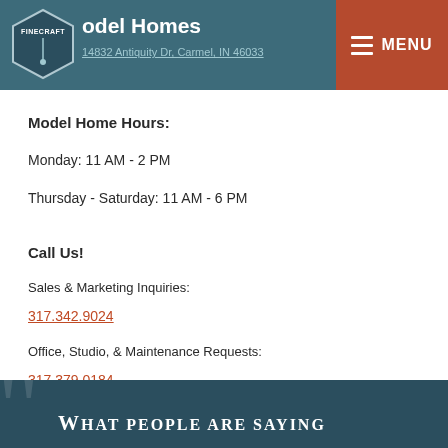Finecraft | Model Homes
14832 Antiquity Dr, Carmel, IN 46033
Model Home Hours:
Monday: 11 AM - 2 PM
Thursday - Saturday: 11 AM - 6 PM
Call Us!
Sales & Marketing Inquiries:
317.342.9024
Office, Studio, & Maintenance Requests:
317.379.0184
WHAT PEOPLE ARE SAYING